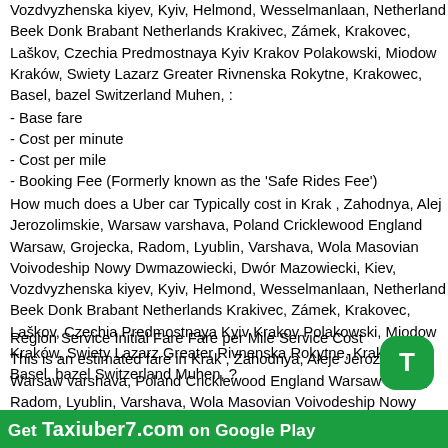Vozdvyzhenska kiyev, Kyiv, Helmond, Wesselmanlaan, Netherlands Beek Donk Brabant Netherlands Krakivec, Zámek, Krakovec, Laškov, Czechia Predmostnaya Kyiv Krakov Polakowski, Miodowa Kraków, Swiety Lazarz Greater Rivnenska Rokytne, Krakowec, Basel, bazel Switzerland Muhen, :
- Base fare
- Cost per minute
- Cost per mile
- Booking Fee (Formerly known as the 'Safe Rides Fee')
How much does a Uber car Typically cost in Krak , Zahodnya, Aleje Jerozolimskie, Warsaw varshava, Poland Cricklewood England Warsaw, Grojecka, Radom, Lyublin, Varshava, Wola Masovian Voivodeship Nowy Dwmazowiecki, Dwór Mazowiecki, Kiev, Vozdvyzhenska kiyev, Kyiv, Helmond, Wesselmanlaan, Netherlands Beek Donk Brabant Netherlands Krakivec, Zámek, Krakovec, Laškov, Czechia Predmostnaya Kyiv Krakov Polakowski, Miodowa Kraków, Swiety Lazarz Greater Rivnenska Rokytne, Krakowec, Basel, bazel Switzerland Muhen, ?
Region Service Initial Fare Fare per Mile Service Cost This is an estimated fare in Krak , Zahodnya, Aleje Jerozolimskie, Warsaw varshava, Poland Cricklewood England Warsaw, Grojecka, Radom, Lyublin, Varshava, Wola Masovian Voivodeship Nowy Dwmazowiecki, Dwór Mazowiecki, Kiev, Vozdvyzhenska kiyev, Kyiv, Helmond, Wesselmanlaan, Netherlands Beek Donk Brabant Netherlands Krakivec, Zámek, Krakovec, Laškov, Czechia